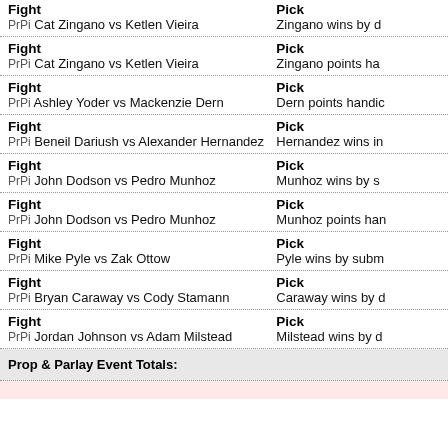| Fight | Pick |
| --- | --- |
| PrPi Cat Zingano vs Ketlen Vieira | Zingano wins by d… |
| PrPi Cat Zingano vs Ketlen Vieira | Zingano points ha… |
| PrPi Ashley Yoder vs Mackenzie Dern | Dern points handic… |
| PrPi Beneil Dariush vs Alexander Hernandez | Hernandez wins in… |
| PrPi John Dodson vs Pedro Munhoz | Munhoz wins by s… |
| PrPi John Dodson vs Pedro Munhoz | Munhoz points han… |
| PrPi Mike Pyle vs Zak Ottow | Pyle wins by subm… |
| PrPi Bryan Caraway vs Cody Stamann | Caraway wins by d… |
| PrPi Jordan Johnson vs Adam Milstead | Milstead wins by d… |
Prop & Parlay Event Totals: